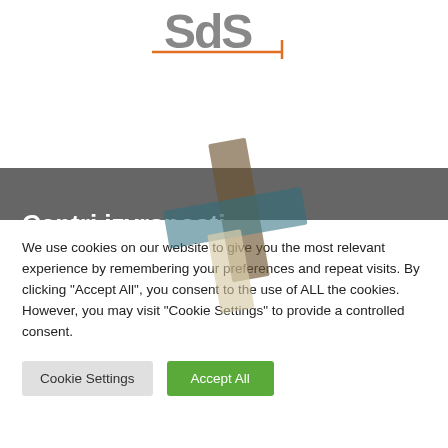[Figure (logo): SDS logo with orange and gray horizontal lines and a plus cross symbol]
Centri izvrsnosti
We use cookies on our website to give you the most relevant experience by remembering your preferences and repeat visits. By clicking "Accept All", you consent to the use of ALL the cookies. However, you may visit "Cookie Settings" to provide a controlled consent.